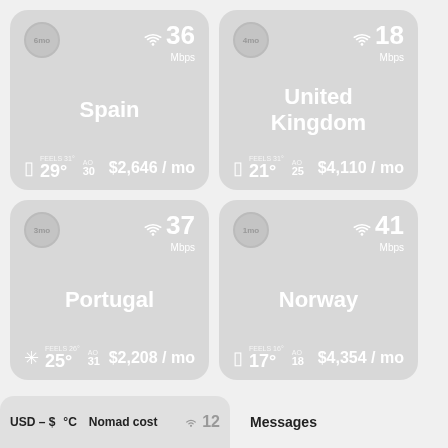[Figure (infographic): Spain card: 6mo badge, 36 Mbps wifi, temp FEELS 31° AO 30, cost $2,646/mo]
[Figure (infographic): United Kingdom card: 4mo badge, 18 Mbps wifi, temp FEELS 31° AO 25, cost $4,110/mo]
[Figure (infographic): Portugal card: 3mo badge, 37 Mbps wifi, temp FEELS 26° AO 31, cost $2,208/mo]
[Figure (infographic): Norway card: 1mo badge, 41 Mbps wifi, temp FEELS 16° AO 18, cost $4,354/mo]
USD – $   °C   Nomad cost
Messages